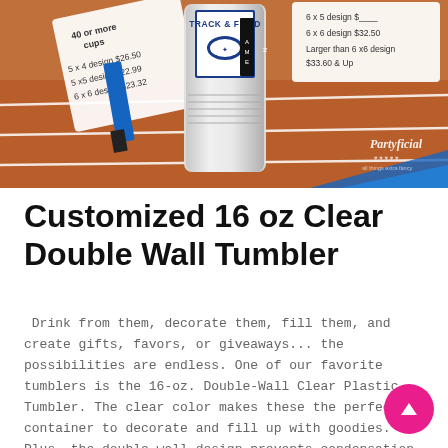[Figure (photo): Photo of a customized 16 oz clear double wall tumbler with a Track & Field winged shoe design and NAME label, placed on a red running track. Decorative price tags and a blue paint brush are visible. Partyficial logo in bottom right corner.]
Customized 16 oz Clear Double Wall Tumbler
Drink from them, decorate them, fill them, and create gifts, favors, or giveaways... the possibilities are endless. One of our favorite tumblers is the 16-oz. Double-Wall Clear Plastic Tumbler. The clear color makes these the perfect container to decorate and fill up with goodies. Plus, the double wall design prevents condensation and...